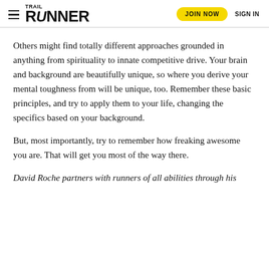Trail Runner — JOIN NOW  SIGN IN
Others might find totally different approaches grounded in anything from spirituality to innate competitive drive. Your brain and background are beautifully unique, so where you derive your mental toughness from will be unique, too. Remember these basic principles, and try to apply them to your life, changing the specifics based on your background.
But, most importantly, try to remember how freaking awesome you are. That will get you most of the way there.
David Roche partners with runners of all abilities through his